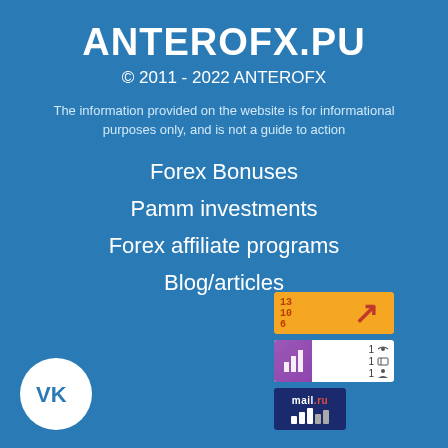ANTEROFX.PU
© 2011 - 2022 ANTEROFX
The information provided on the website is for informational purposes only, and is not a guide to action
Forex Bonuses
Pamm investments
Forex affiliate programs
Blog/articles
[Figure (logo): VK social network logo - white circle with VK text in blue]
[Figure (other): Orange counter badge with numbers 13, 10, 6 and red arrow]
[Figure (other): White badge with purple chart icon and stats: 1 eye, 1 entry, 1 person]
[Figure (logo): Mail.ru dark blue badge with bar chart icon]